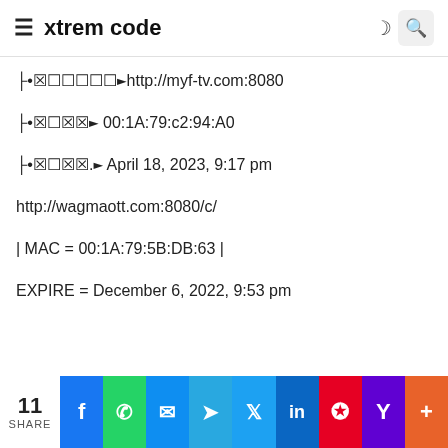xtrem code
⊢•🄽🅂🅃🄰🄽🅉 ➤ http://myf-tv.com:8080
⊢•🄽🅂🄽🄽 ➤ 00:1A:79:c2:94:A0
⊢•🄽🅂🄽🄽. ➤ April 18, 2023, 9:17 pm
http://wagmaott.com:8080/c/
| MAC = 00:1A:79:5B:DB:63 |
EXPIRE = December 6, 2022, 9:53 pm
11 SHARE | Facebook | WhatsApp | Messenger | Telegram | Twitter | LinkedIn | Pinterest | Yahoo | More